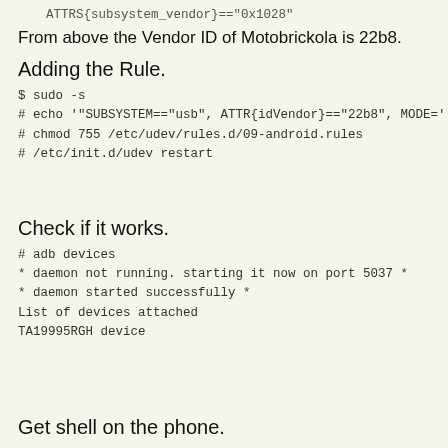ATTRS{subsystem_vendor}=="0x1028"
From above the Vendor ID of Motobrickola is 22b8.
Adding the Rule.
$ sudo -s
# echo '"SUBSYSTEM=="usb", ATTR{idVendor}=="22b8", MODE='
# chmod 755 /etc/udev/rules.d/09-android.rules
# /etc/init.d/udev restart
Check if it works.
# adb devices
* daemon not running. starting it now on port 5037 *
* daemon started successfully *
List of devices attached
TA19995RGH device
Get shell on the phone.
$ adb shell